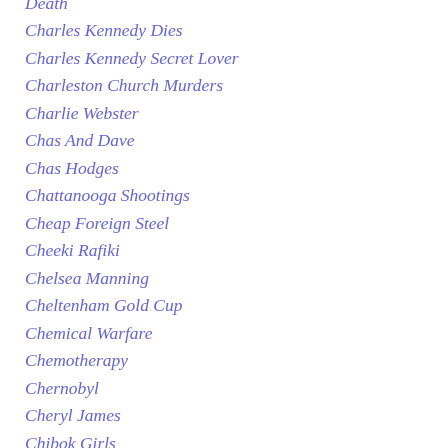Death
Charles Kennedy Dies
Charles Kennedy Secret Lover
Charleston Church Murders
Charlie Webster
Chas And Dave
Chas Hodges
Chattanooga Shootings
Cheap Foreign Steel
Cheeki Rafiki
Chelsea Manning
Cheltenham Gold Cup
Chemical Warfare
Chemotherapy
Chernobyl
Cheryl James
Chibok Girls